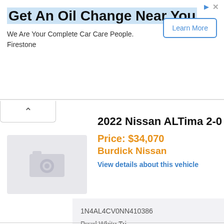[Figure (infographic): Advertisement banner for Firestone oil change service with 'Learn More' button]
2022 Nissan ALTima 2-0 S
Price: $34,070
Burdick Nissan
View details about this vehicle
[Figure (photo): Car photo placeholder with camera icon]
| 1N4AL4CV0NN410386 |
| Pearl White Tri |
| Sport |
| I4 PDI Turbocharged DOHC 16V LEV |
| CVT with Xtronic |
| Fuel: Gasoline |
View Details »